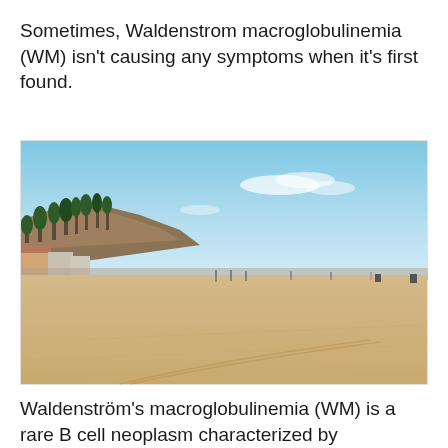Sometimes, Waldenstrom macroglobulinemia (WM) isn't causing any symptoms when it's first found.
[Figure (photo): A wide sandy beach with palm trees and hillside buildings on the left side, clear blue sky with light clouds, stretching into the distance with a few small figures and objects on the beach.]
Waldenström's macroglobulinemia (WM) is a rare B cell neoplasm characterized by accumulation of